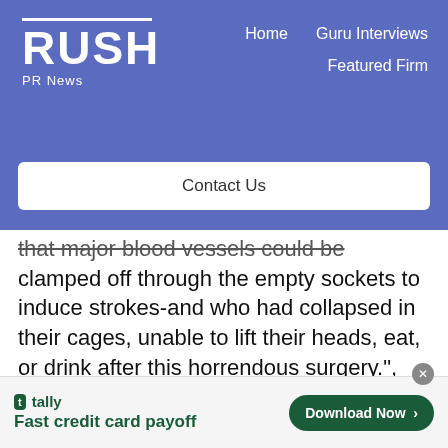RUSH PR News | Home | Guru Interviews | Featured Firm | Contact Us
that major blood vessels could be clamped off through the empty sockets to induce strokes-and who had collapsed in their cages, unable to lift their heads, eat, or drink after this horrendous surgery.", reports Dr. Catherine Dell’Orto, a postdoctoral veterinary fellow at Columbia.
[Figure (screenshot): Tally advertisement banner: logo, 'Fast credit card payoff' tagline, and 'Download Now' button]